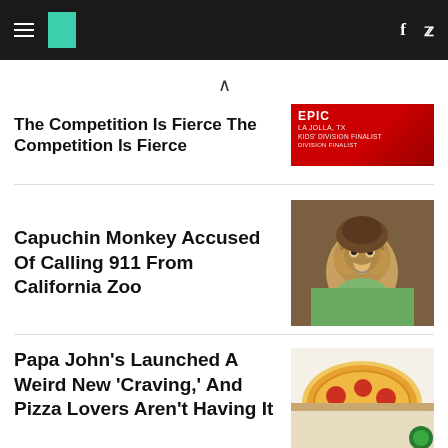HuffPost navigation bar with hamburger menu, logo, Facebook and Twitter icons
The Competition Is Fierce
[Figure (screenshot): Advertisement thumbnail showing EPIC branding with red background, LA JOLLA text, KIDS DIVISION FINALIST text]
Capuchin Monkey Accused Of Calling 911 From California Zoo
[Figure (photo): Photo of a capuchin monkey with brown fur looking at camera, held by someone in a green shirt]
Papa John's Launched A Weird New 'Craving,' And Pizza Lovers Aren't Having It